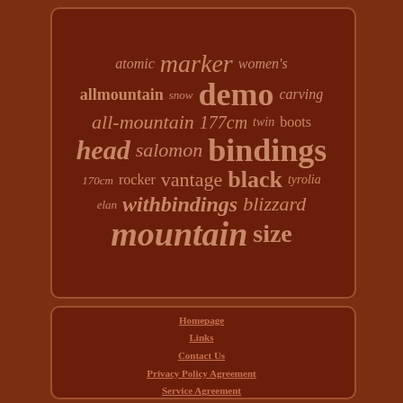[Figure (infographic): Word cloud on dark brown rounded panel with ski-related terms: atomic, marker, women's, demo, allmountain, snow, carving, all-mountain, 177cm, twin, boots, head, salomon, bindings, 170cm, rocker, vantage, black, tyrolia, elan, withbindings, blizzard, mountain, size]
Homepage
Links
Contact Us
Privacy Policy Agreement
Service Agreement